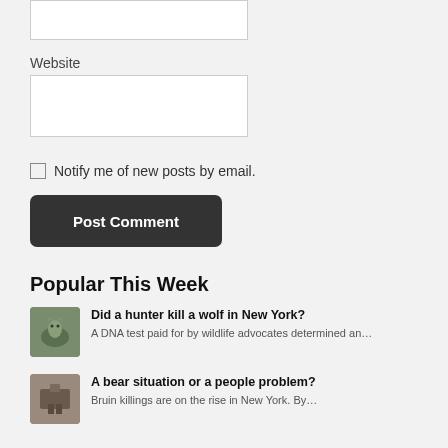[Figure (other): Empty white input text box (top, partially visible)]
Website
[Figure (other): White input text box for Website field]
Notify me of new posts by email.
Post Comment
Popular This Week
Did a hunter kill a wolf in New York?
A DNA test paid for by wildlife advocates determined an…
A bear situation or a people problem?
Bruin killings are on the rise in New York. By…